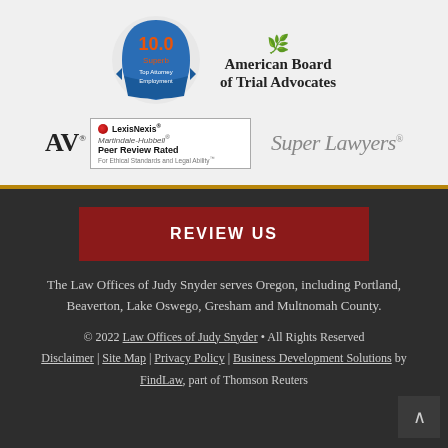[Figure (logo): Avvo 10.0 Superb Top Attorney Employment badge - blue ribbon shield with orange/red rating]
[Figure (logo): American Board of Trial Advocates logo with green decorative ornament and bold serif text]
[Figure (logo): AV LexisNexis Martindale-Hubbell Peer Review Rated badge - For Ethical Standards and Legal Ability]
[Figure (logo): Super Lawyers logo in gray italic serif font]
REVIEW US
The Law Offices of Judy Snyder serves Oregon, including Portland, Beaverton, Lake Oswego, Gresham and Multnomah County.
© 2022 Law Offices of Judy Snyder • All Rights Reserved Disclaimer | Site Map | Privacy Policy | Business Development Solutions by FindLaw, part of Thomson Reuters